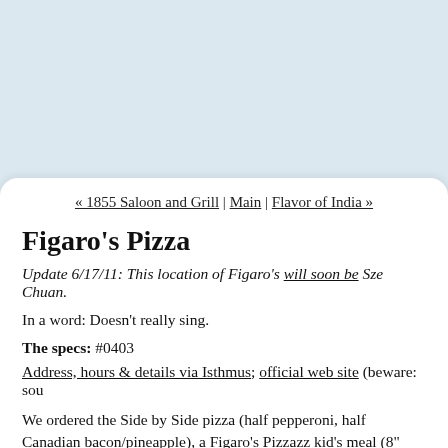[Figure (other): Light blue background area at the top of the page, representing an advertisement or image space.]
« 1855 Saloon and Grill | Main | Flavor of India »
Figaro's Pizza
Update 6/17/11: This location of Figaro's will soon be Sze Chuan.
In a word: Doesn't really sing.
The specs: #0403
Address, hours & details via Isthmus; official web site (beware: sou
We ordered the Side by Side pizza (half pepperoni, half Canadian bacon/pineapple), a Figaro's Pizzazz kid's meal (8" cheese pizza), a